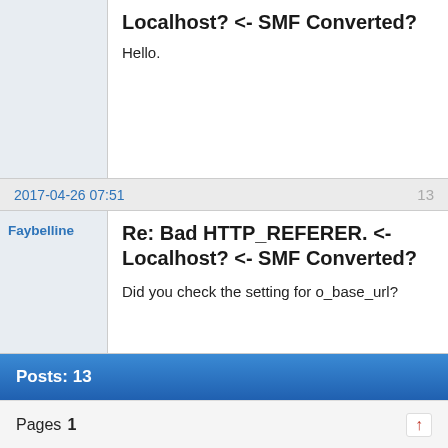Localhost? <- SMF Converted?
Hello.
Faybelline
2017-04-26 07:51
13
Re: Bad HTTP_REFERER. <- Localhost? <- SMF Converted?
Did you check the setting for o_base_url?
Posts: 13
Pages  1